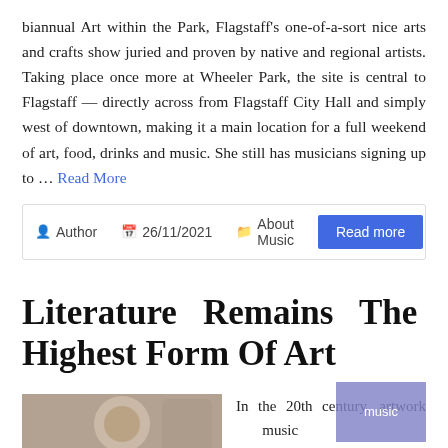biannual Art within the Park, Flagstaff's one-of-a-sort nice arts and crafts show juried and proven by native and regional artists. Taking place once more at Wheeler Park, the site is central to Flagstaff — directly across from Flagstaff City Hall and simply west of downtown, making it a main location for a full weekend of art, food, drinks and music. She still has musicians signing up to … Read More
Author  26/11/2021  About Music  Read more
Literature Remains The Highest Form Of Art
[Figure (photo): A person photographed in front of an ornate building facade, partially visible.]
In the 20th century, artwork   music